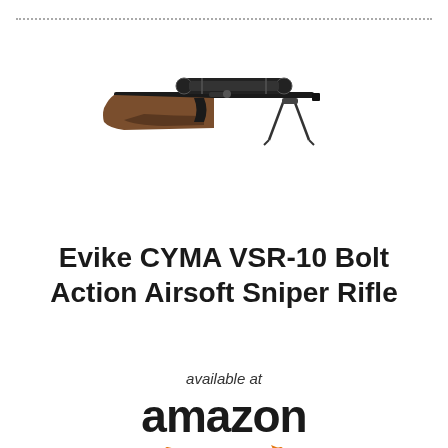[Figure (photo): Photo of an airsoft sniper rifle (Evike CYMA VSR-10) with scope and bipod, brown wooden stock, black barrel, displayed on white background]
Evike CYMA VSR-10 Bolt Action Airsoft Sniper Rifle
available at
[Figure (logo): Amazon logo in bold black text with orange arrow swoosh underneath]